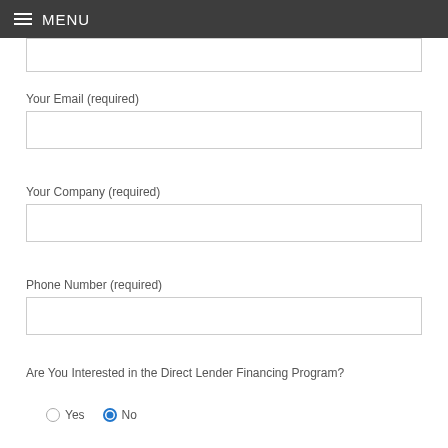MENU
Your Email (required)
Your Company (required)
Phone Number (required)
Are You Interested in the Direct Lender Financing Program?
Yes
No (selected)